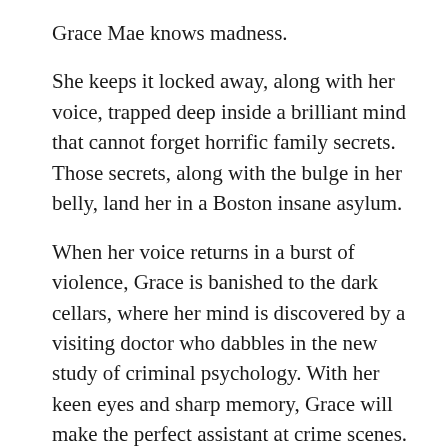Grace Mae knows madness.
She keeps it locked away, along with her voice, trapped deep inside a brilliant mind that cannot forget horrific family secrets. Those secrets, along with the bulge in her belly, land her in a Boston insane asylum.
When her voice returns in a burst of violence, Grace is banished to the dark cellars, where her mind is discovered by a visiting doctor who dabbles in the new study of criminal psychology. With her keen eyes and sharp memory, Grace will make the perfect assistant at crime scenes. Escaping from Boston to the safety of an ethical Ohio asylum, Grace finds friendship and hope, hints of a life she should have had. But gruesome nights bring Grace and the doctor into the circle of a killer who stalks young women. Grace, continuing to operate under the cloak of madness, must hunt a murderer while she